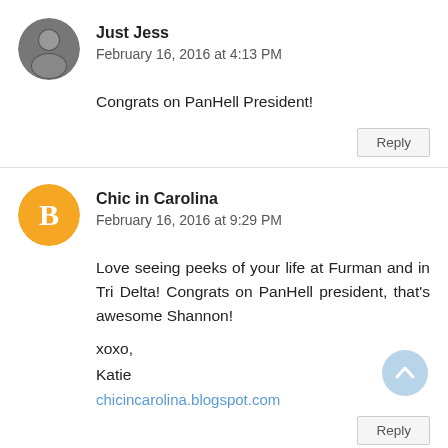Just Jess
February 16, 2016 at 4:13 PM
Congrats on PanHell President!
Reply
Chic in Carolina
February 16, 2016 at 9:29 PM
Love seeing peeks of your life at Furman and in Tri Delta! Congrats on PanHell president, that's awesome Shannon!
xoxo,
Katie
chicincarolina.blogspot.com
Reply